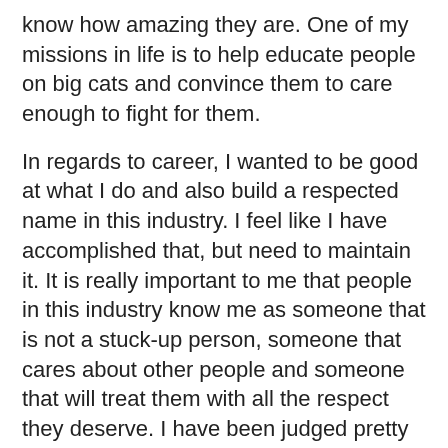know how amazing they are. One of my missions in life is to help educate people on big cats and convince them to care enough to fight for them.
In regards to career, I wanted to be good at what I do and also build a respected name in this industry. I feel like I have accomplished that, but need to maintain it. It is really important to me that people in this industry know me as someone that is not a stuck-up person, someone that cares about other people and someone that will treat them with all the respect they deserve. I have been judged pretty harshly in my life and I don't ever want people to think I am judgmental or look down on people. I want to help people; I am a helper. However, insult my friends or my family and the nice me goes away 😊
I would really like for people outside our industry to understand how much knowledge, experience